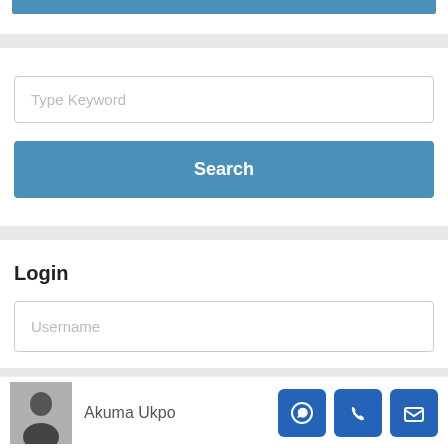[Figure (screenshot): Blue header bar at top of card]
[Figure (screenshot): Search card with keyword input field and Search button]
Login
[Figure (screenshot): Username input field in login card]
[Figure (screenshot): Bottom bar with user avatar, name Akuma Ukpo, and three icon buttons (WhatsApp, phone, email)]